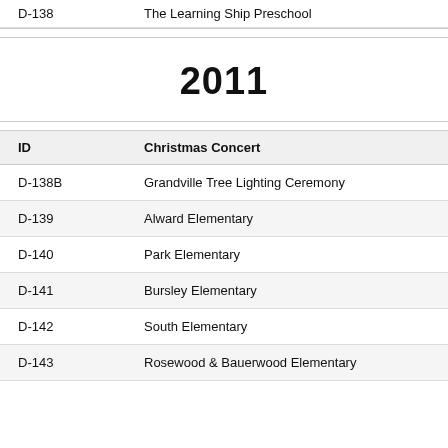| ID |  |
| --- | --- |
| D-138 | The Learning Ship Preschool |
2011
| ID | Christmas Concert |
| --- | --- |
| D-138B | Grandville Tree Lighting Ceremony |
| D-139 | Alward Elementary |
| D-140 | Park Elementary |
| D-141 | Bursley Elementary |
| D-142 | South Elementary |
| D-143 | Rosewood & Bauerwood Elementary |